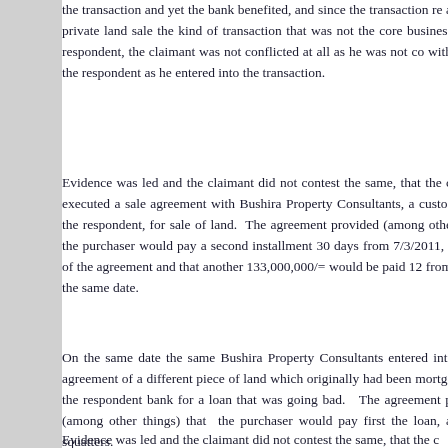it was contended for the claimant that since the claimant did not benefit the transaction and yet the bank benefited, and since the transaction related to a private land sale the kind of transaction that was not the core business of the respondent, the claimant was not conflicted at all as he was not competing with the respondent as he entered into the transaction.
Evidence was led and the claimant did not contest the same, that the claimant executed a sale agreement with Bushira Property Consultants, a customer of the respondent, for sale of land. The agreement provided (among other things) the purchaser would pay a second installment 30 days from 7/3/2011, the date of the agreement and that another 133,000,000/= would be paid 12 months from the same date.
On the same date the same Bushira Property Consultants entered into an agreement of a different piece of land which originally had been mortgaged to the respondent bank for a loan that was going bad. The agreement provided (among other things) that the purchaser would pay first the loan, and evict squatters.
Evidence was led and the claimant did not contest the same, that the c